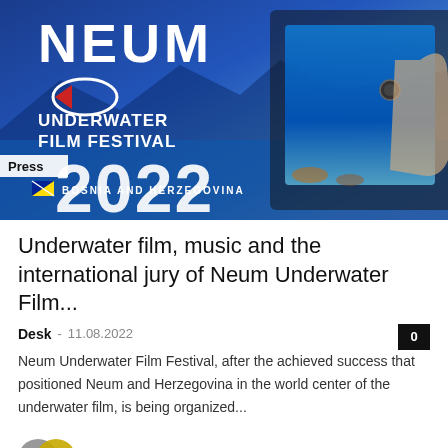[Figure (photo): Neum Underwater Film Festival 2022 promotional banner with blue ocean background, festival logo (fish symbol with red triangle), underwater camera footage visible, Press badge, year 2022 and Bosnia and Herzegovina flag]
Underwater film, music and the international jury of Neum Underwater Film...
Desk - 11.08.2022
Neum Underwater Film Festival, after the achieved success that positioned Neum and Herzegovina in the world center of the underwater film, is being organized...
The new head of the CINS